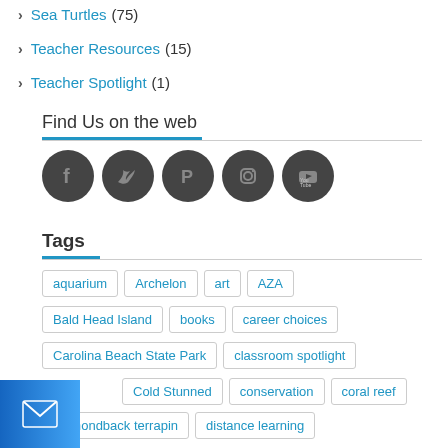Sea Turtles (75)
Teacher Resources (15)
Teacher Spotlight (1)
Find Us on the web
[Figure (infographic): Five circular dark gray social media icons: Facebook, Twitter, Pinterest, Instagram, YouTube]
Tags
aquarium
Archelon
art
AZA
Bald Head Island
books
career choices
Carolina Beach State Park
classroom spotlight
Cold Stunned
conservation
coral reef
diamondback terrapin
distance learning
Fort Fisher State Recreation Area
ghost crab